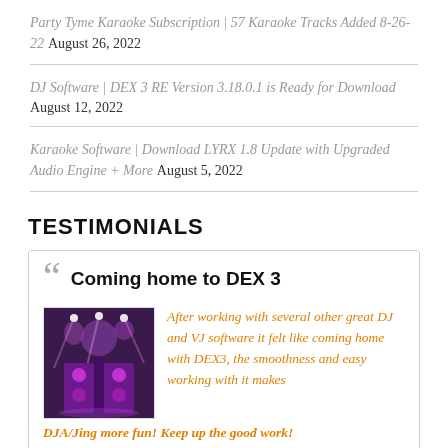Party Tyme Karaoke Subscription | 57 Karaoke Tracks Added 8-26-22 August 26, 2022
DJ Software | DEX 3 RE Version 3.18.0.1 is Ready for Download August 12, 2022
Karaoke Software | Download LYRX 1.8 Update with Upgraded Audio Engine + More August 5, 2022
TESTIMONIALS
Coming home to DEX 3
[Figure (photo): DJ performance photo with colorful stage lighting in purple and pink tones]
After working with several other great DJ and VJ software it felt like coming home with DEX3, the smoothness and easy working with it makes DJA/Jing more fun! Keep up the good work!